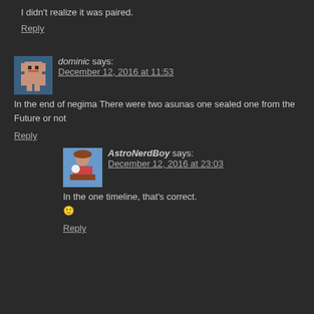I didn't realize it was paired.
Reply
[Figure (illustration): Pixel art avatar for user dominic]
dominic says:
December 12, 2016 at 11:53
In the end of negima There were two asunas one sealed one from the Future or not
Reply
[Figure (photo): Avatar image for AstroNerdBoy]
AstroNerdBoy says:
December 12, 2016 at 23:03
In the one timeline, that's correct. 🙂
Reply